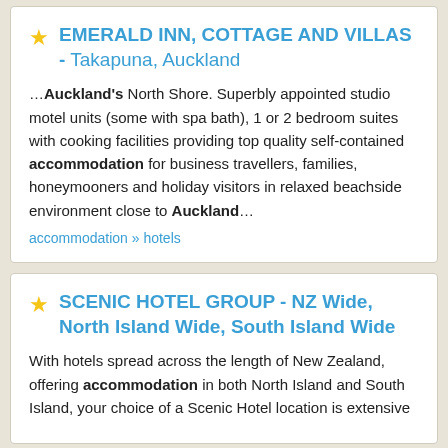EMERALD INN, COTTAGE AND VILLAS - Takapuna, Auckland
…Auckland's North Shore. Superbly appointed studio motel units (some with spa bath), 1 or 2 bedroom suites with cooking facilities providing top quality self-contained accommodation for business travellers, families, honeymooners and holiday visitors in relaxed beachside environment close to Auckland…
accommodation » hotels
SCENIC HOTEL GROUP - NZ Wide, North Island Wide, South Island Wide
With hotels spread across the length of New Zealand, offering accommodation in both North Island and South Island, your choice of a Scenic Hotel location is extensive...